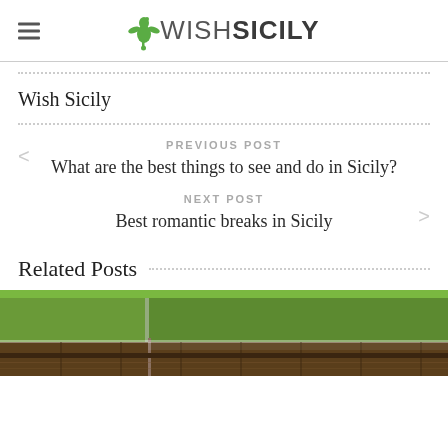WISHSICILY
Wish Sicily
PREVIOUS POST
What are the best things to see and do in Sicily?
NEXT POST
Best romantic breaks in Sicily
Related Posts
[Figure (photo): Green grass and wooden fence photo strip at bottom of page]